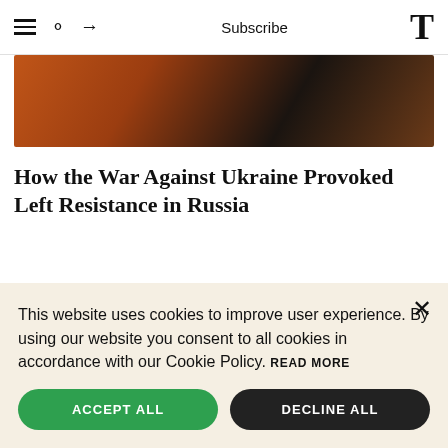Subscribe
[Figure (photo): Partial photo showing warm orange and dark tones, appears to be a person in dark clothing against an orange background]
How the War Against Ukraine Provoked Left Resistance in Russia
This website uses cookies to improve user experience. By using our website you consent to all cookies in accordance with our Cookie Policy. READ MORE
ACCEPT ALL
DECLINE ALL